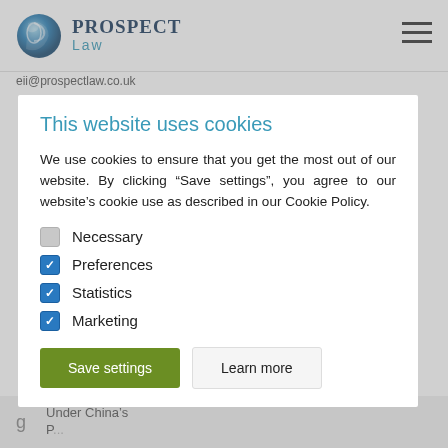[Figure (logo): Prospect Law logo with blue globe icon and text 'PROSPECT LAW']
eii@prospectlaw.co.uk
This website uses cookies
We use cookies to ensure that you get the most out of our website. By clicking “Save settings”, you agree to our website’s cookie use as described in our Cookie Policy.
Necessary
Preferences
Statistics
Marketing
Save settings
Learn more